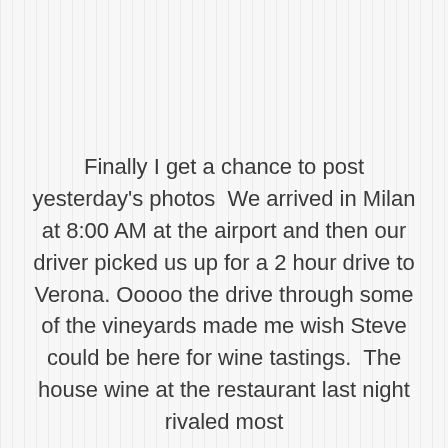Finally I get a chance to post yesterday's photos  We arrived in Milan at 8:00 AM at the airport and then our driver picked us up for a 2 hour drive to Verona.  Ooooo the drive through some of the vineyards made me wish Steve could be here for wine tastings.  The house wine at the restaurant last night rivaled most